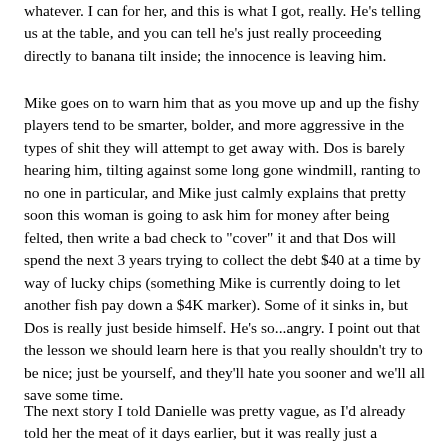whatever. I can for her, and this is what I got, really. He's telling us at the table, and you can tell he's just really proceeding directly to banana tilt inside; the innocence is leaving him.
Mike goes on to warn him that as you move up and up the fishy players tend to be smarter, bolder, and more aggressive in the types of shit they will attempt to get away with. Dos is barely hearing him, tilting against some long gone windmill, ranting to no one in particular, and Mike just calmly explains that pretty soon this woman is going to ask him for money after being felted, then write a bad check to "cover" it and that Dos will spend the next 3 years trying to collect the debt $40 at a time by way of lucky chips (something Mike is currently doing to let another fish pay down a $4K marker). Some of it sinks in, but Dos is really just beside himself. He's so...angry. I point out that the lesson we should learn here is that you really shouldn't try to be nice; just be yourself, and they'll hate you sooner and we'll all save some time.
The next story I told Danielle was pretty vague, as I'd already told her the meat of it days earlier, but it was really just a